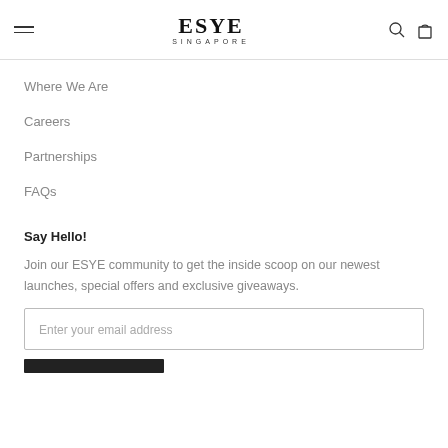ESYE SINGAPORE
Where We Are
Careers
Partnerships
FAQs
Say Hello!
Join our ESYE community to get the inside scoop on our newest launches, special offers and exclusive giveaways.
Enter your email address